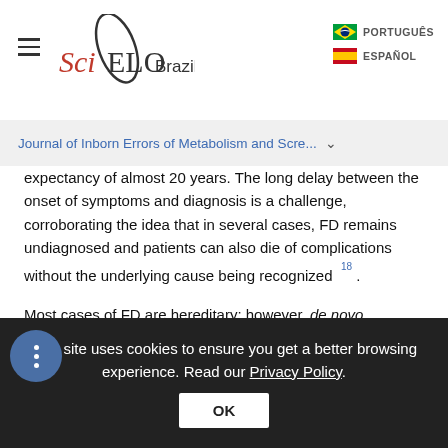SciELO Brazil | PORTUGUÊS | ESPAÑOL
Journal of Inborn Errors of Metabolism and Scre... ∨
expectancy of almost 20 years. The long delay between the onset of symptoms and diagnosis is a challenge, corroborating the idea that in several cases, FD remains undiagnosed and patients can also die of complications without the underlying cause being recognized 18 .
Most cases of FD are hereditary; however, de novo disease-related variants have occasionally been reported 3 , 9 . For example, in Japan, the frequency of de novo variants in FD was 6.8%, while in Spain, the frequency was 4.5% 24 , 25 .
This site uses cookies to ensure you get a better browsing experience. Read our Privacy Policy.